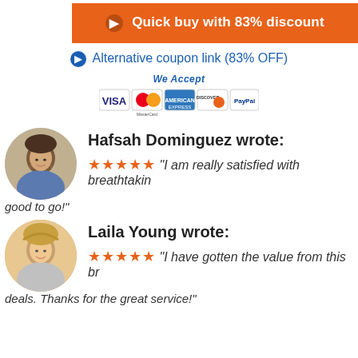Quick buy with 83% discount
Alternative coupon link (83% OFF)
[Figure (infographic): We Accept payment icons: VISA, MasterCard, American Express, Discover, PayPal]
Hafsah Dominguez wrote:
★★★★★ "I am really satisfied with breathtaking good to go!"
Laila Young wrote:
★★★★★ "I have gotten the value from this br... deals. Thanks for the great service!"